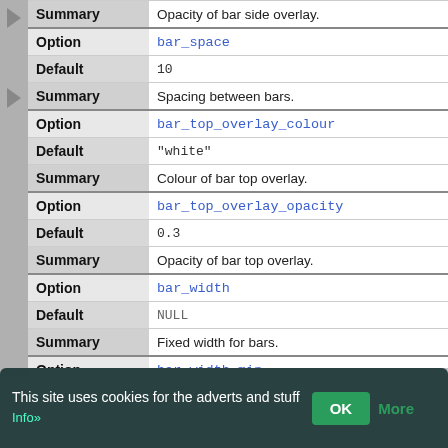|  |  |
| --- | --- |
| Summary | Opacity of bar side overlay. |
| Option | bar_space |
| Default | 10 |
| Summary | Spacing between bars. |
| Option | bar_top_overlay_colour |
| Default | "white" |
| Summary | Colour of bar top overlay. |
| Option | bar_top_overlay_opacity |
| Default | 0.3 |
| Summary | Opacity of bar top overlay. |
| Option | bar_width |
| Default | NULL |
| Summary | Fixed width for bars. |
| Option | bar_width_min |
This site uses cookies for the adverts and stuff OK More Info»